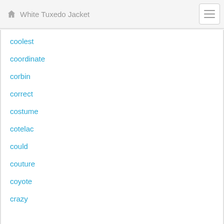White Tuxedo Jacket
coolest
coordinate
corbin
correct
costume
cotelac
could
couture
coyote
crazy